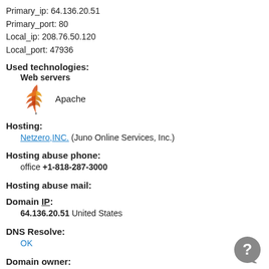Primary_ip: 64.136.20.51
Primary_port: 80
Local_ip: 208.76.50.120
Local_port: 47936
Used technologies:
Web servers
[Figure (logo): Apache feather logo with text 'Apache']
Hosting:
Netzero,INC. (Juno Online Services, Inc.)
Hosting abuse phone:
office +1-818-287-3000
Hosting abuse mail:
Domain IP:
64.136.20.51 United States
DNS Resolve:
OK
Domain owner:
Phong Nguyen
Address: 14162 TAFT ST., GARDEN GROVE, CA, 92843, US
Phone: +17149056136
Mail: vietnamquehuongtoi75@yahoo.com
Domain administrator:
Phong Nguyen
Address: 14162 TAFT ST., GARDEN GROVE, CA, 92843, US